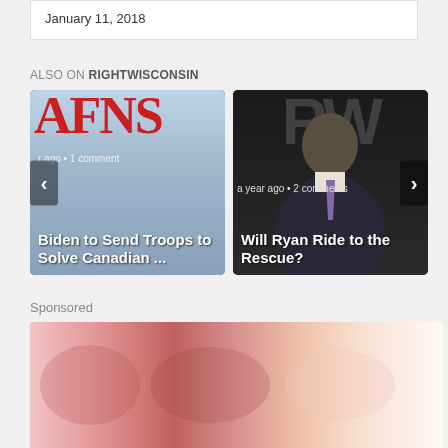January 11, 2018
ALSO ON RIGHTWISCONSIN
[Figure (screenshot): Card showing AFNS logo with headline: Biden to Send Troops to Solve Canadian ...]
[Figure (screenshot): Card showing man at podium with RW logo with headline: Will Ryan Ride to the Rescue?]
Sponsored
[Figure (photo): Sponsored content image showing meat/food products]